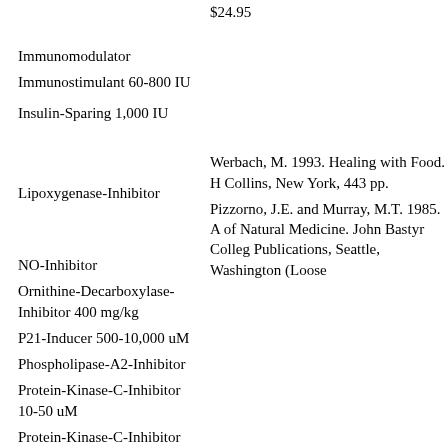$24.95
Immunomodulator
Immunostimulant 60-800 IU
Insulin-Sparing 1,000 IU
Werbach, M. 1993. Healing with Food. H Collins, New York, 443 pp.
Lipoxygenase-Inhibitor
Pizzorno, J.E. and Murray, M.T. 1985. A of Natural Medicine. John Bastyr Colleg Publications, Seattle, Washington (Loose
NO-Inhibitor
Ornithine-Decarboxylase-Inhibitor 400 mg/kg
P21-Inducer 500-10,000 uM
Phospholipase-A2-Inhibitor
Protein-Kinase-C-Inhibitor 10-50 uM
Protein-Kinase-C-Inhibitor IC50=450 uM
Challem, J., Berkson, Burt, and Smith, M Dianne. 2000. Syndrome X - The comple nutritional program to prevent and reserv
Vasodilator